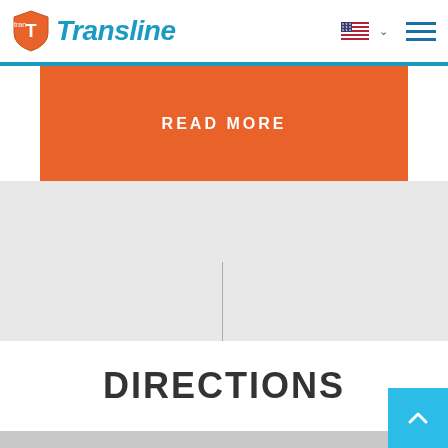Transline
READ MORE
DIRECTIONS
[Figure (screenshot): Partial map view at the bottom of the page with a cyan back-to-top arrow button in the bottom-right corner]